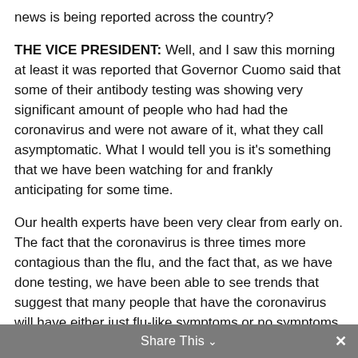news is being reported across the country?
THE VICE PRESIDENT: Well, and I saw this morning at least it was reported that Governor Cuomo said that some of their antibody testing was showing very significant amount of people who had had the coronavirus and were not aware of it, what they call asymptomatic. What I would tell you is it's something that we have been watching for and frankly anticipating for some time.
Our health experts have been very clear from early on. The fact that the coronavirus is three times more contagious than the flu, and the fact that, as we have done testing, we have been able to see trends that suggest that many people that have the coronavirus will have either just flu-like symptoms or no symptoms at all.
I will tell you that our team will not be surprised to see evidence in the days ahead, particularly as these antibody tests continue to scale across America, that a large number of Americans have been exposed, contracted it,
Share This